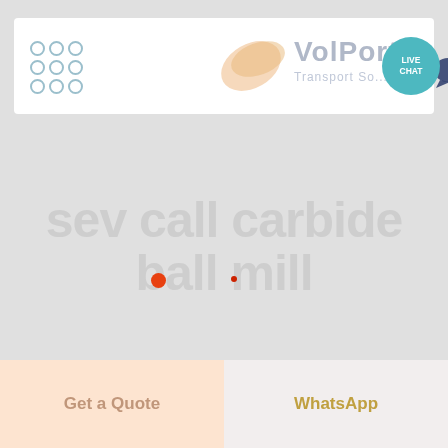[Figure (logo): VolPort Transport Solutions logo with dot grid decoration and Live Chat bubble icon in header bar]
sev call carbide ball mill
[Figure (other): Get a Quote button (salmon/peach background) and WhatsApp button (light background) at bottom of page]